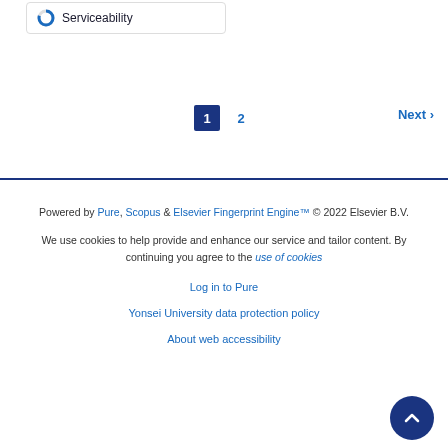Serviceability
1  2  Next ›
Powered by Pure, Scopus & Elsevier Fingerprint Engine™ © 2022 Elsevier B.V.
We use cookies to help provide and enhance our service and tailor content. By continuing you agree to the use of cookies
Log in to Pure
Yonsei University data protection policy
About web accessibility